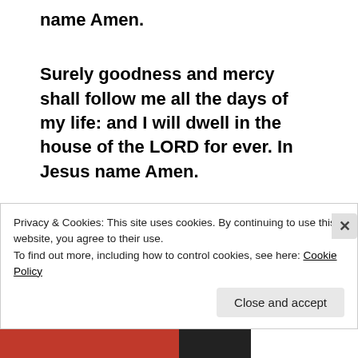name Amen.
Surely goodness and mercy shall follow me all the days of my life: and I will dwell in the house of the LORD for ever. In Jesus name Amen.
Evangelist Oliver U. Onyeoziri (JP)
Missionary Bishop
Privacy & Cookies: This site uses cookies. By continuing to use this website, you agree to their use.
To find out more, including how to control cookies, see here: Cookie Policy